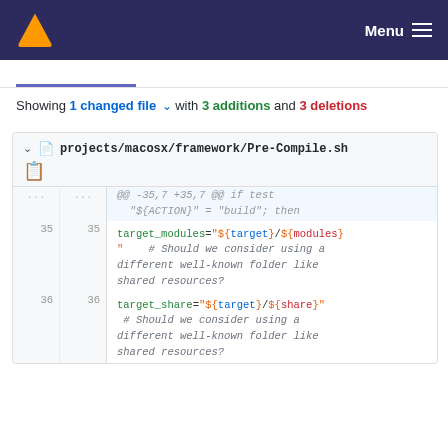VLC Menu
Showing 1 changed file with 3 additions and 3 deletions
[Figure (screenshot): Git diff view showing projects/macosx/framework/Pre-Compile.sh with code changes including target_modules and target_share variable assignments]
projects/macosx/framework/Pre-Compile.sh
@@ -35,7 +35,7 @@ if test "${ACTION}" = "build"; then
target_modules="${target}/${modules}"
# Should we consider using a different well-known folder like shared resources?
target_share="${target}/${share}"
# Should we consider using a different well-known folder like shared resources?